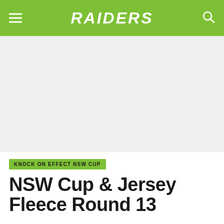RAIDERS
[Figure (photo): Large gray placeholder image area below the navigation bar]
KNOCK ON EFFECT NSW CUP
NSW Cup & Jersey Fleece Round 13